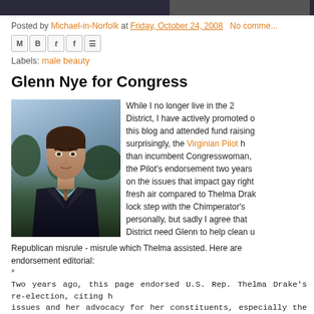[Figure (photo): Partial dark photograph at top of page, appears to be a person]
Posted by Michael-in-Norfolk at Friday, October 24, 2008  No comme...
[Figure (infographic): Social share icons: Email (M), Blogger (B), Twitter (t), Facebook (f), Pinterest (p)]
Labels: male beauty
Glenn Nye for Congress
[Figure (photo): Portrait photo of Glenn Nye, a man in a dark suit with a patterned tie against a background of trees and sky]
While I no longer live in the 2 District, I have actively promoted o this blog and attended fund raising surprisingly, the Virginian Pilot h than incumbent Congresswoman, the Pilot's endorsement two years on the issues that impact gay right fresh air compared to Thelma Drak lock step with the Chimperator's personally, but sadly I agree that District need Glenn to help clean u Republican misrule - misrule which Thelma assisted. Here are endorsement editorial:
*
Two years ago, this page endorsed U.S. Rep. Thelma Drake's re-election, citing h issues and her advocacy for her constituents, especially the military and veterans.
*